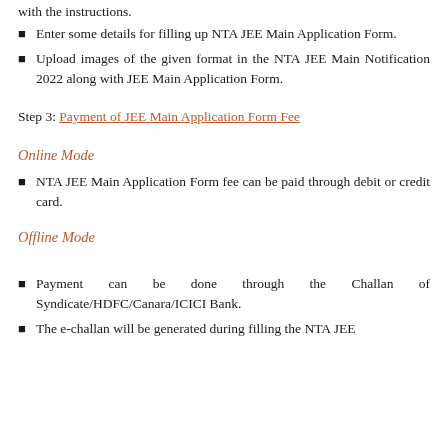Enter some details for filling up NTA JEE Main Application Form.
Upload images of the given format in the NTA JEE Main Notification 2022 along with JEE Main Application Form.
Step 3: Payment of JEE Main Application Form Fee
Online Mode
NTA JEE Main Application Form fee can be paid through debit or credit card.
Offline Mode
Payment can be done through the Challan of Syndicate/HDFC/Canara/ICICI Bank.
The e-challan will be generated during filling the NTA JEE